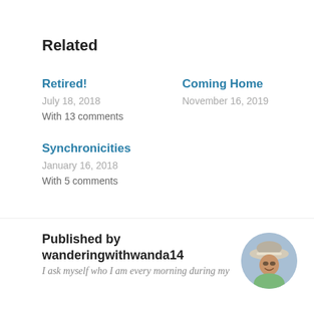Related
Retired!
July 18, 2018
With 13 comments
Coming Home
November 16, 2019
Synchronicities
January 16, 2018
With 5 comments
Published by wanderingwithwanda14
I ask myself who I am every morning during my